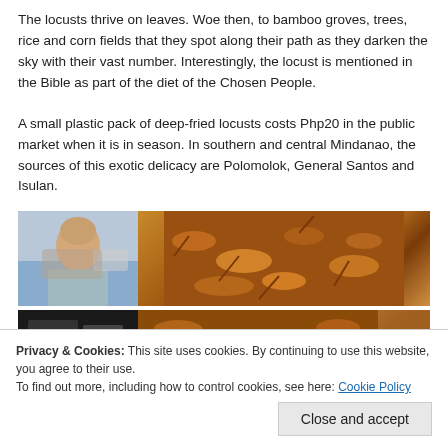The locusts thrive on leaves. Woe then, to bamboo groves, trees, rice and corn fields that they spot along their path as they darken the sky with their vast number. Interestingly, the locust is mentioned in the Bible as part of the diet of the Chosen People.
A small plastic pack of deep-fried locusts costs Php20 in the public market when it is in season. In southern and central Mindanao, the sources of this exotic delicacy are Polomolok, General Santos and Isulan.
[Figure (photo): Two photos side by side: left shows a person (appears to be a woman with light hair) outdoors; right shows a close-up of deep-fried locusts, golden-brown in color.]
Privacy & Cookies: This site uses cookies. By continuing to use this website, you agree to their use.
To find out more, including how to control cookies, see here: Cookie Policy
[Figure (photo): Two more photos side by side at the bottom: left appears dark/shadowy; right shows more fried locusts.]